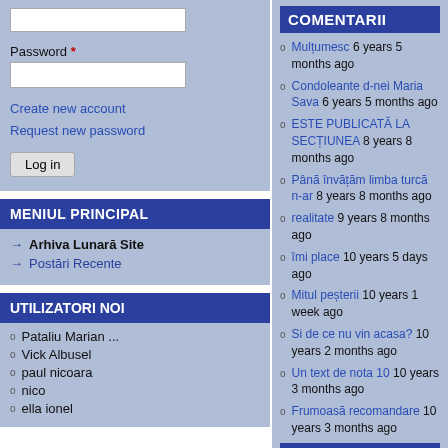Password *
Create new account
Request new password
MENIUL PRINCIPAL
Arhiva Lunară Site
Postări Recente
UTILIZATORI NOI
Pataliu Marian ...
Vick Albusel
paul nicoara
nico
ella ionel
COMENTARII
Mulțumesc 6 years 5 months ago
Condoleante d-nei Maria Sava 6 years 5 months ago
ESTE PUBLICATĂ LA SECȚIUNEA 8 years 8 months ago
Până învățăm limba turcă n-ar 8 years 8 months ago
realitate 9 years 8 months ago
îmi place 10 years 5 days ago
Mitul peșterii 10 years 1 week ago
Si de ce nu vin acasa? 10 years 2 months ago
Un text de nota 10 10 years 3 months ago
Frumoasă recomandare 10 years 3 months ago
BLOGS
Profeția Papilor ( fragmer